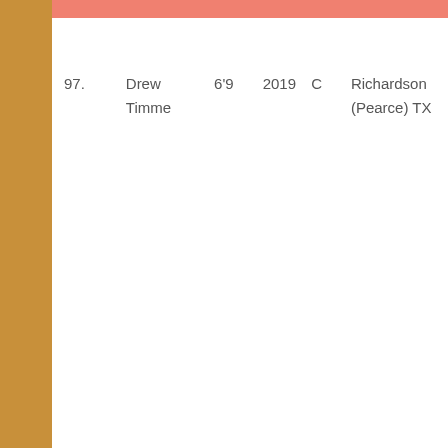| # | Name | Height | Year | Pos | Hometown |
| --- | --- | --- | --- | --- | --- |
| 97. | Drew Timme | 6'9 | 2019 | C | Richardson (Pearce) TX |